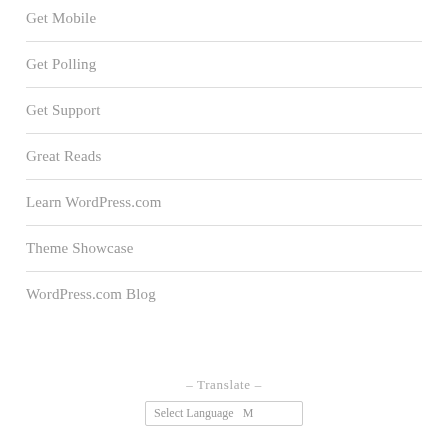Get Mobile
Get Polling
Get Support
Great Reads
Learn WordPress.com
Theme Showcase
WordPress.com Blog
– Translate –
Select Language